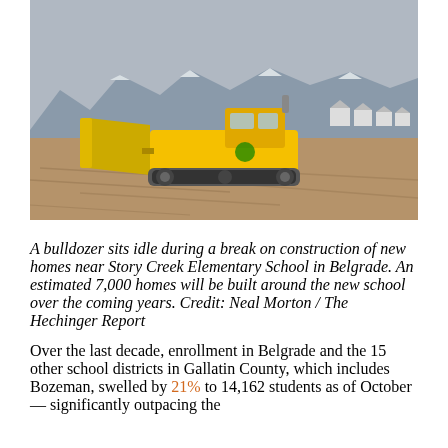[Figure (photo): A yellow bulldozer sits idle on a dirt construction site with mountains and houses visible in the background under an overcast sky.]
A bulldozer sits idle during a break on construction of new homes near Story Creek Elementary School in Belgrade. An estimated 7,000 homes will be built around the new school over the coming years. Credit: Neal Morton / The Hechinger Report
Over the last decade, enrollment in Belgrade and the 15 other school districts in Gallatin County, which includes Bozeman, swelled by 21% to 14,162 students as of October — significantly outpacing the